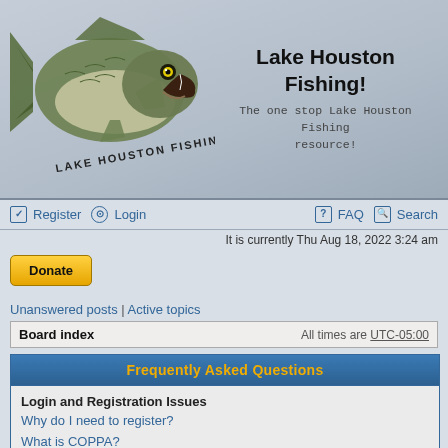[Figure (illustration): Lake Houston Fishing banner with large bass fish illustration and 'LAKE HOUSTON FISHING' text curved below the fish on a blue-grey background]
Lake Houston Fishing!
The one stop Lake Houston Fishing resource!
Register  Login  FAQ  Search
It is currently Thu Aug 18, 2022 3:24 am
[Figure (other): PayPal Donate button, gold/yellow colored]
Unanswered posts | Active topics
Board index    All times are UTC-05:00
Frequently Asked Questions
Login and Registration Issues
Why do I need to register?
What is COPPA?
Why can't I register?
I registered but cannot login!
Why can't I login?
I registered in the past but cannot login any more?!
I've lost my password!